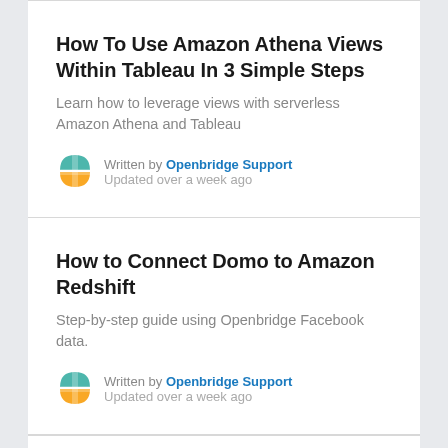How To Use Amazon Athena Views Within Tableau In 3 Simple Steps
Learn how to leverage views with serverless Amazon Athena and Tableau
Written by Openbridge Support
Updated over a week ago
How to Connect Domo to Amazon Redshift
Step-by-step guide using Openbridge Facebook data.
Written by Openbridge Support
Updated over a week ago
How To Query Your Facebook Data